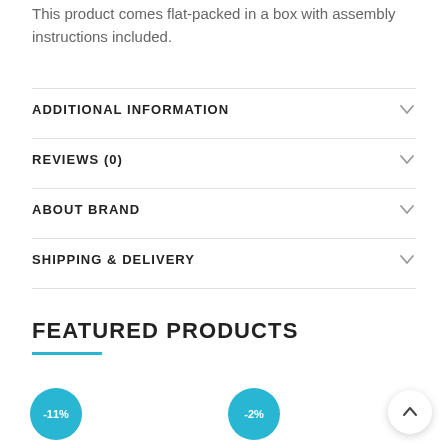This product comes flat-packed in a box with assembly instructions included.
ADDITIONAL INFORMATION
REVIEWS (0)
ABOUT BRAND
SHIPPING & DELIVERY
FEATURED PRODUCTS
-11%
-2%